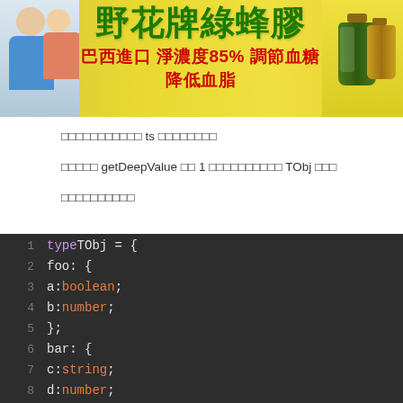[Figure (photo): Advertisement banner for 野花牌綠蜂膠 (Wild Flower Brand Green Propolis) with Chinese text: 巴西進口 淨濃度85% 調節血糖 降低血脂]
□□□□□□□□□□□ ts □□□□□□□□
□□□□□ getDeepValue □□ 1 □□□□□□□□□□ TObj □□□
□□□□□□□□□□
[Figure (screenshot): Code block showing TypeScript type definition: type TObj = { foo: { a: boolean; b: number; }; bar: { c: string; d: number; }; };]